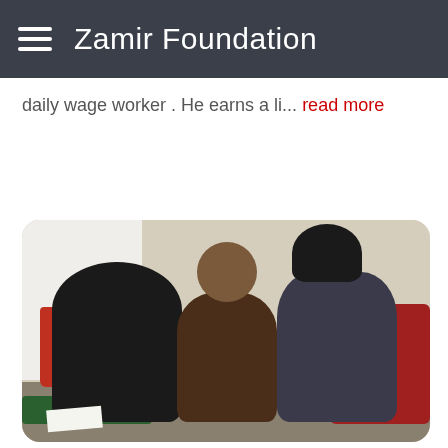Zamir Foundation
daily wage worker . He earns a li... read more
[Figure (photo): A woman in black clothing and two children (a boy and a girl) sitting on the floor in a sparse room. A red gas cylinder is visible on the left side. Green fabric and a red patterned blanket are on the floor around them.]